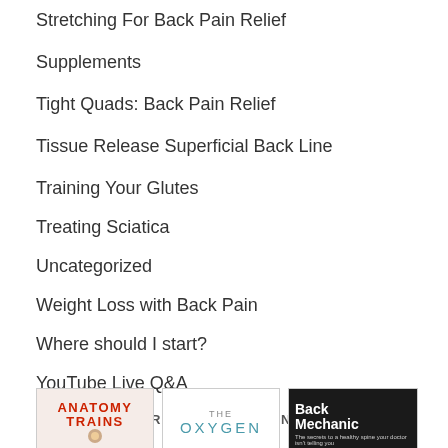Stretching For Back Pain Relief
Supplements
Tight Quads: Back Pain Relief
Tissue Release Superficial Back Line
Training Your Glutes
Treating Sciatica
Uncategorized
Weight Loss with Back Pain
Where should I start?
YouTube Live Q&A
WHAT I AM CURRENTLY READING.
[Figure (photo): Three book covers: Anatomy Trains, The Oxygen (partial), Back Mechanic]